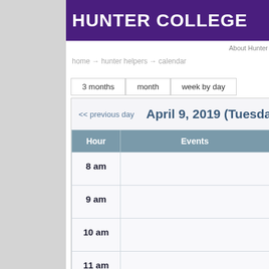HUNTER COLLEGE
About Hunter
home → hunter helpers → calendar
3 months   month   week by day
<< previous day   April 9, 2019 (Tuesday)
| Hour | Events |
| --- | --- |
| 8 am |  |
| 9 am |  |
| 10 am |  |
| 11 am |  |
| 12 pm |  |